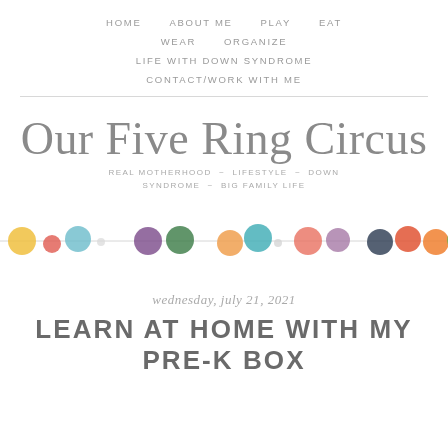HOME   ABOUT ME   PLAY   EAT   WEAR   ORGANIZE   LIFE WITH DOWN SYNDROME   CONTACT/WORK WITH ME
Our Five Ring Circus
REAL MOTHERHOOD ~ LIFESTYLE ~ DOWN SYNDROME ~ BIG FAMILY LIFE
[Figure (illustration): Decorative horizontal row of colorful watercolor circles/dots on a line, in various colors: yellow, red, teal, purple, dark green, orange, teal, coral, purple-pink, dark navy, red-orange, orange-yellow, green]
wednesday, july 21, 2021
LEARN AT HOME WITH MY PRE-K BOX